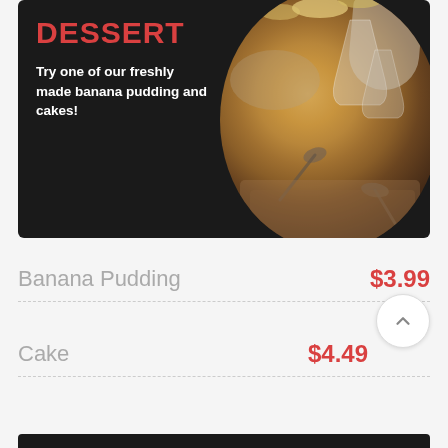[Figure (photo): Dark background hero banner with 'DESSERT' heading in red, descriptive text about banana pudding and cakes, and a circular photo of desserts in glass dishes with spoons]
DESSERT
Try one of our freshly made banana pudding and cakes!
Banana Pudding    $3.99
Cake    $4.49